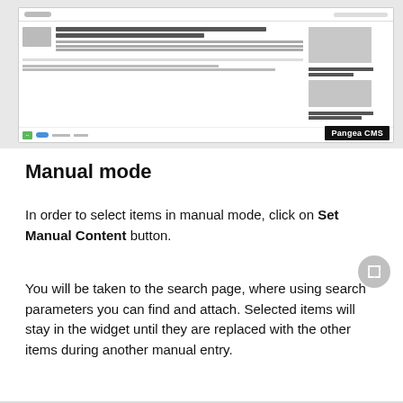[Figure (screenshot): Screenshot of a CMS interface (Pangea CMS) showing article listings with thumbnails, text content, navigation controls, and a 'Pangea CMS' branding badge in the bottom-right corner.]
Manual mode
In order to select items in manual mode, click on Set Manual Content button.
You will be taken to the search page, where using search parameters you can find and attach. Selected items will stay in the widget until they are replaced with the other items during another manual entry.